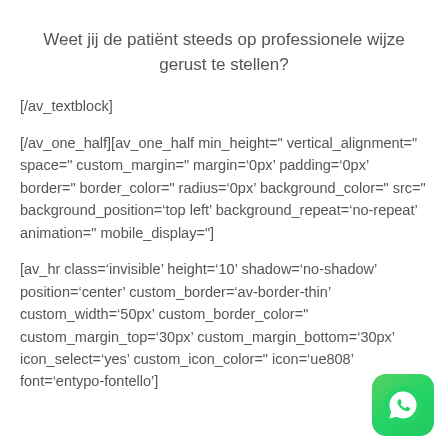Weet jij de patiënt steeds op professionele wijze gerust te stellen?
[/av_textblock]
[/av_one_half][av_one_half min_height=" vertical_alignment=" space=" custom_margin=" margin='0px' padding='0px' border=" border_color=" radius='0px' background_color=" src=" background_position='top left' background_repeat='no-repeat' animation=" mobile_display="]
[av_hr class='invisible' height='10' shadow='no-shadow' position='center' custom_border='av-border-thin' custom_width='50px' custom_border_color=" custom_margin_top='30px' custom_margin_bottom='30px' icon_select='yes' custom_icon_color=" icon='ue808' font='entypo-fontello']